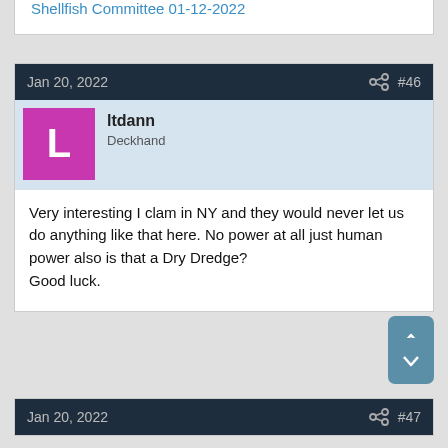the first time ever after all the old timers laughed and told me “that will neeeevvveerrr happen!” This video is where our town is at year two and our thoughts for the future.
Shellfish Committee 01-12-2022
Jan 20, 2022  #46
ltdann
Deckhand
Very interesting I clam in NY and they would never let us do anything like that here. No power at all just human power also is that a Dry Dredge?
Good luck.
Jan 20, 2022  #47